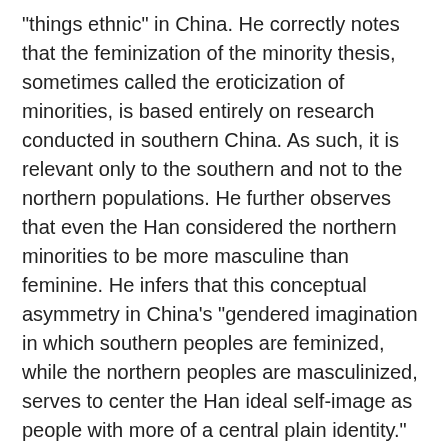"things ethnic" in China. He correctly notes that the feminization of the minority thesis, sometimes called the eroticization of minorities, is based entirely on research conducted in southern China. As such, it is relevant only to the southern and not to the northern populations. He further observes that even the Han considered the northern minorities to be more masculine than feminine. He infers that this conceptual asymmetry in China's "gendered imagination in which southern peoples are feminized, while the northern peoples are masculinized, serves to center the Han ideal self-image as people with more of a central plain identity." This is a nice correction to the conventional wisdom which holds that the Han conception of eroticism is based on attraction to the exotic, with its minority populations cast as the most exotic. It is also an important qualification to the feminized-ethnicity or subjection thesis currently making the rounds. Bulag nicely points out that northern minorities may be subjected peoples, but they are not regarded as effeminate.